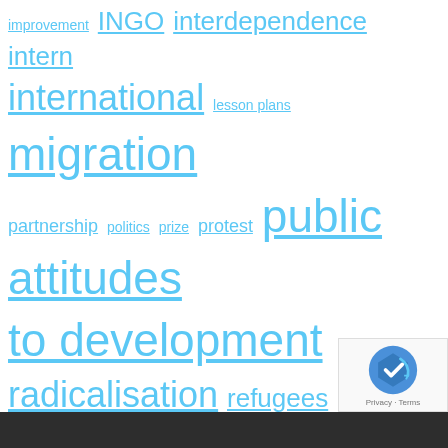[Figure (infographic): Tag cloud of educational and development-related topics displayed as hyperlinks in varying font sizes in light blue color. Tags include: improvement, INGO, interdependence, intern, international, lesson plans, migration, partnership, politics, prize, protest, public attitudes to development, radicalisation, refugees, research, schools, skills, staff, supermarkets, Supply Cha!nge, supply chain, sustainability, Sustainable Development Goals, teaching, teaching resources, training, values, young people.]